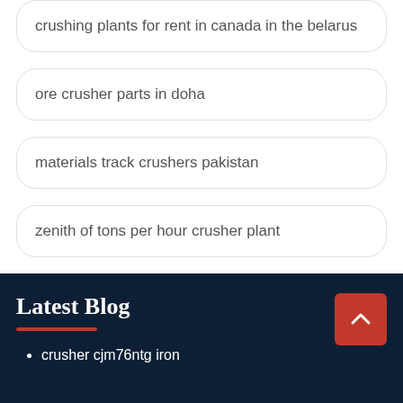crushing plants for rent in canada in the belarus
ore crusher parts in doha
materials track crushers pakistan
zenith of tons per hour crusher plant
Latest Blog
crusher cjm76ntg iron
Leave Message  Chat Online